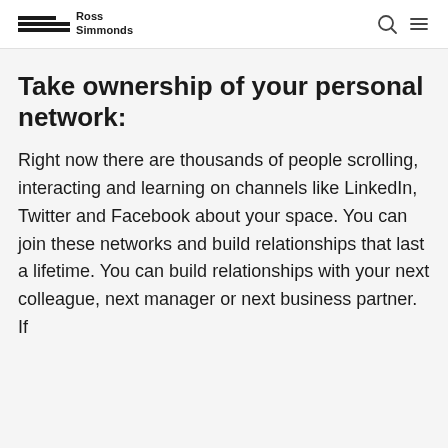Ross Simmonds
Take ownership of your personal network:
Right now there are thousands of people scrolling, interacting and learning on channels like LinkedIn, Twitter and Facebook about your space. You can join these networks and build relationships that last a lifetime. You can build relationships with your next colleague, next manager or next business partner. If